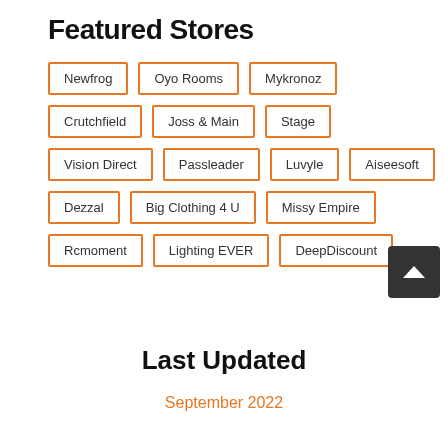Featured Stores
Newfrog
Oyo Rooms
Mykronoz
Crutchfield
Joss & Main
Stage
Vision Direct
Passleader
Luvyle
Aiseesoft
Dezzal
Big Clothing 4 U
Missy Empire
Rcmoment
Lighting EVER
DeepDiscount
Last Updated
September 2022